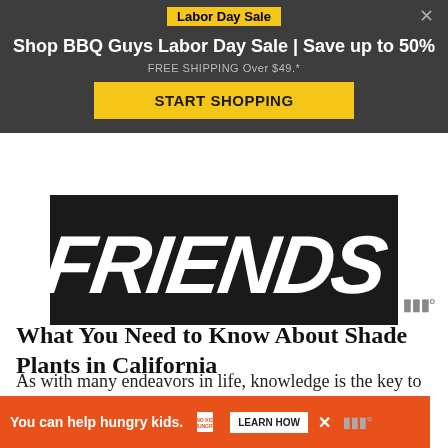Labor Day Sale
Shop BBQ Guys Labor Day Sale | Save up to 50%
FREE SHIPPING Over $49.*
START SHOPPING
[Figure (screenshot): Friends TV show logo in white bold italic text on dark background]
What You Need to Know About Shade Plants in California
As with many endeavors in life, knowledge is the key to success. Contrary to popular opinion, master gardeners are
You can help hungry kids. NO KID HUNGRY LEARN HOW